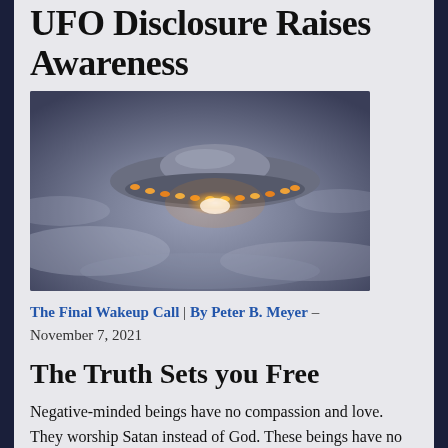UFO Disclosure Raises Awareness
[Figure (photo): A CGI/rendered image of a classic flying saucer UFO hovering in a cloudy, moody grey sky. The saucer has a metallic disc shape with glowing orange/amber lights around its rim and a bright white light underneath.]
The Final Wakeup Call | By Peter B. Meyer – November 7, 2021
The Truth Sets you Free
Negative-minded beings have no compassion and love. They worship Satan instead of God. These beings have no respect for planet Earth, and even